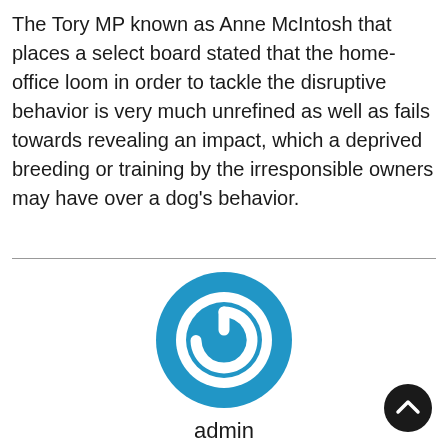The Tory MP known as Anne McIntosh that places a select board stated that the home-office loom in order to tackle the disruptive behavior is very much unrefined as well as fails towards revealing an impact, which a deprived breeding or training by the irresponsible owners may have over a dog's behavior.
[Figure (logo): Blue circular power button icon]
admin
[Figure (other): Dark circular scroll-to-top button with upward arrow]